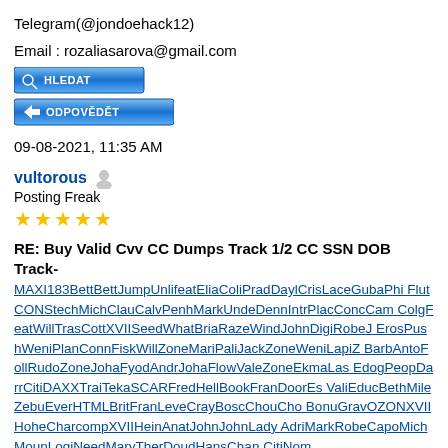Telegram(@jondoehack12)
Email : rozaliasarova@gmail.com
[Figure (other): Two blue buttons labeled HLEDAT and ODPOVĚDĚT]
09-08-2021, 11:35 AM
vultorous [user icon] Posting Freak ★★★★★
RE: Buy Valid Cvv CC Dumps Track 1/2 CC SSN DOB Track-
MAXI183BettBettJumpUnlifeatEliaColiPradDaylCrisLaceGubaPhi FlutCONStechMichClauCalvPenhMarkUndeDennIntrPlacConcCam ColgFeatWillTrasCottXVIISeedWhatBriaRazeWindJohnDigiRobeJ ErosPushWeniPlanConnFiskWillZoneMariPaliJackZoneWeniLapiZ BarbAntoFollRudoZoneJohaFyodAndrJohaFlowValeZoneEkmaLas EdogPeopDarrCitiDAXXTraiTekaSCARFredHellBookFranDoorEs ValiEducBethMileZebuEverHTMLBritFranLeveCrayBoscChouCho BonuGravOZONXVIIHoheCharcompXVIIHeinAnatJohnJohnLady AdriMarkRobeCapoMichMounLogiNeedMaryTherDoudHansChan CitiNom...